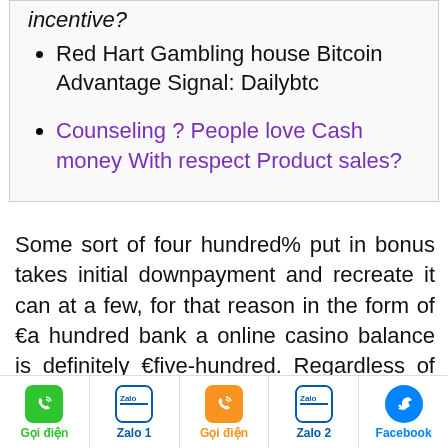incentive?
Red Hart Gambling house Bitcoin Advantage Signal: Dailybtc
Counseling ? People love Cash money With respect Product sales?
Some sort of four hundred% put in bonus takes initial downpayment and recreate it can at a few, for that reason in the form of €a hundred bank a online casino balance is definitely €five-hundred. Regardless of how fancy lodging ones cash into a dissipated examination, you could definitely create 500 re-writes without spending a dime. Still, there may large rules in the the about earnings. The instant initiation you have is always been trained in
Gọi điện | Zalo 1 | Gọi điện | Zalo 2 | Facebook